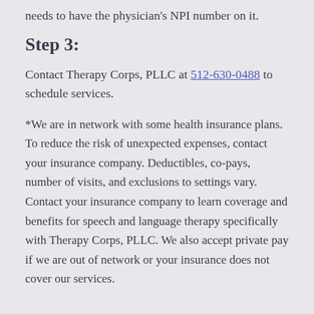needs to have the physician's NPI number on it.
Step 3:
Contact Therapy Corps, PLLC at 512-630-0488 to schedule services.
*We are in network with some health insurance plans. To reduce the risk of unexpected expenses, contact your insurance company. Deductibles, co-pays, number of visits, and exclusions to settings vary. Contact your insurance company to learn coverage and benefits for speech and language therapy specifically with Therapy Corps, PLLC. We also accept private pay if we are out of network or your insurance does not cover our services.